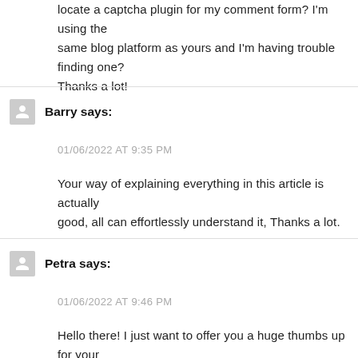locate a captcha plugin for my comment form? I'm using the same blog platform as yours and I'm having trouble finding one? Thanks a lot!
Barry says:
01/06/2022 AT 9:35 PM
Your way of explaining everything in this article is actually good, all can effortlessly understand it, Thanks a lot.
Petra says:
01/06/2022 AT 9:46 PM
Hello there! I just want to offer you a huge thumbs up for your excellent information you have here on this post. I will be coming back to your website for...